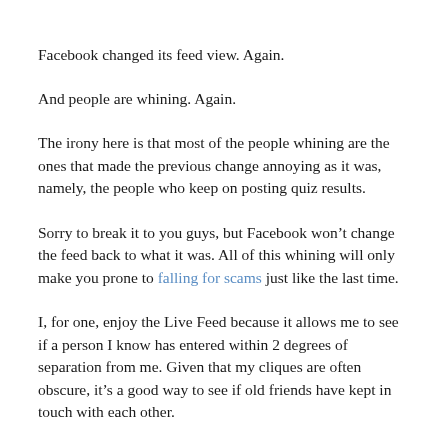Facebook changed its feed view. Again.
And people are whining. Again.
The irony here is that most of the people whining are the ones that made the previous change annoying as it was, namely, the people who keep on posting quiz results.
Sorry to break it to you guys, but Facebook won’t change the feed back to what it was. All of this whining will only make you prone to falling for scams just like the last time.
I, for one, enjoy the Live Feed because it allows me to see if a person I know has entered within 2 degrees of separation from me. Given that my cliques are often obscure, it’s a good way to see if old friends have kept in touch with each other.
Holy Shit, Team Fortress 2 for $2.49!!!